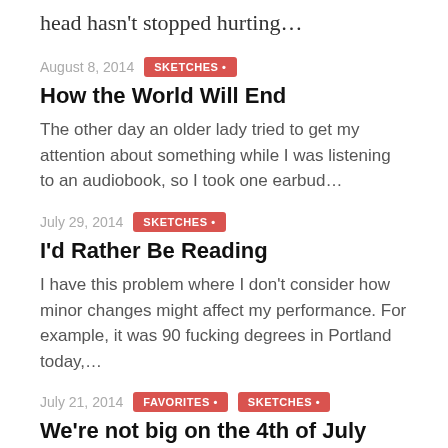head hasn't stopped hurting…
August 8, 2014   SKETCHES •
How the World Will End
The other day an older lady tried to get my attention about something while I was listening to an audiobook, so I took one earbud…
July 29, 2014   SKETCHES •
I'd Rather Be Reading
I have this problem where I don't consider how minor changes might affect my performance. For example, it was 90 fucking degrees in Portland today,…
July 21, 2014   FAVORITES •   SKETCHES •
We're not big on the 4th of July
Welcome to July 20th. The day Southeast Portland finally, finally, ran out of fireworks